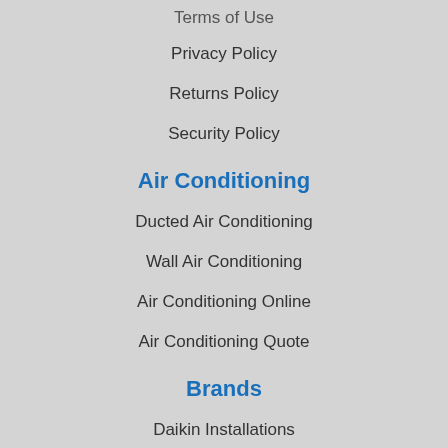Terms of Use
Privacy Policy
Returns Policy
Security Policy
Air Conditioning
Ducted Air Conditioning
Wall Air Conditioning
Air Conditioning Online
Air Conditioning Quote
Brands
Daikin Installations